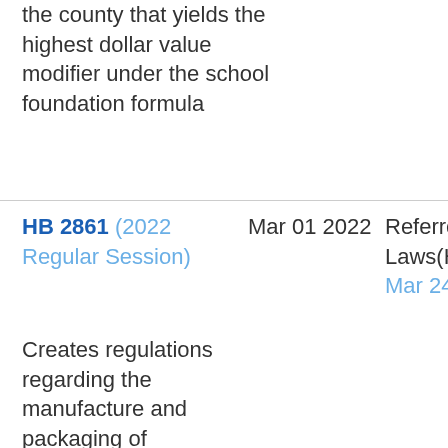the county that yields the highest dollar value modifier under the school foundation formula
HB 2861 (2022 Regular Session)
Mar 01 2022
Referred: General Laws(H)
Mar 24 2022
Creates regulations regarding the manufacture and packaging of commercial ice